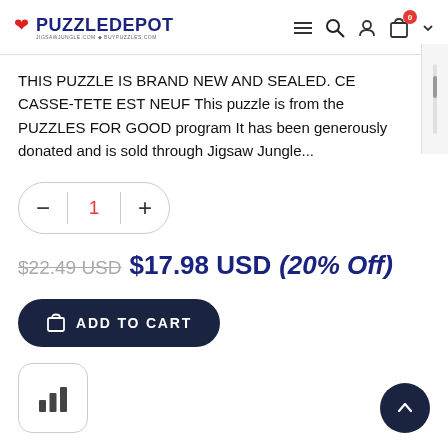PuzzleDepot — jigsawjungle.com + buypuzzles.com
THIS PUZZLE IS BRAND NEW AND SEALED. CE CASSE-TETE EST NEUF This puzzle is from the PUZZLES FOR GOOD program It has been generously donated and is sold through Jigsaw Jungle...
1 (quantity selector)
$22.49 USD $17.98 USD (20% Off)
ADD TO CART